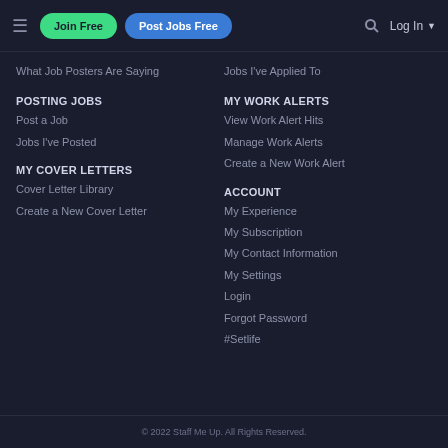≡  Join Free  Post Jobs Free  🔍  Log In ▼
What Job Posters Are Saying
Jobs I've Applied To
POSTING JOBS
Post a Job
Jobs I've Posted
MY WORK ALERTS
View Work Alert Hits
Manage Work Alerts
Create a New Work Alert
MY COVER LETTERS
Cover Letter Library
Create a New Cover Letter
ACCOUNT
My Experience
My Subscription
My Contact Information
My Settings
Login
Forgot Password
#Setlife
© 2022 Staff Me Up. All Rights Reserved.